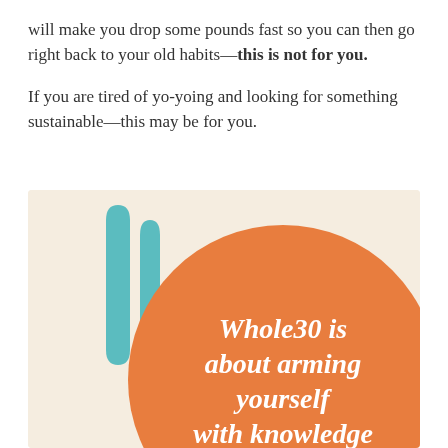will make you drop some pounds fast so you can then go right back to your old habits—this is not for you.
If you are tired of yo-yoing and looking for something sustainable—this may be for you.
[Figure (illustration): Infographic on a beige/cream background with two teal bottle/shield shapes on the left and a large orange circle on the right containing white bold italic text: 'Whole30 is about arming yourself with knowledge' (knowledge partially cut off at bottom)]